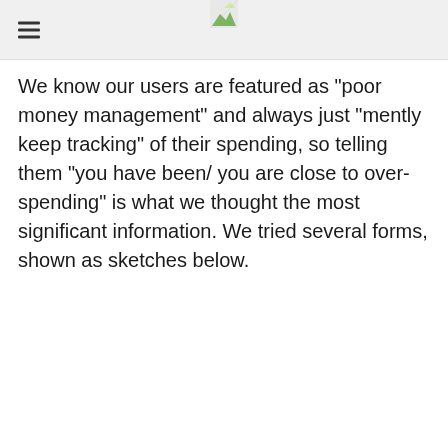[hamburger menu icon] [logo image]
We know our users are featured as "poor money management" and always just "mently keep tracking" of their spending, so telling them "you have been/ you are close to over-spending" is what we thought the most significant information. We tried several forms, shown as sketches below.